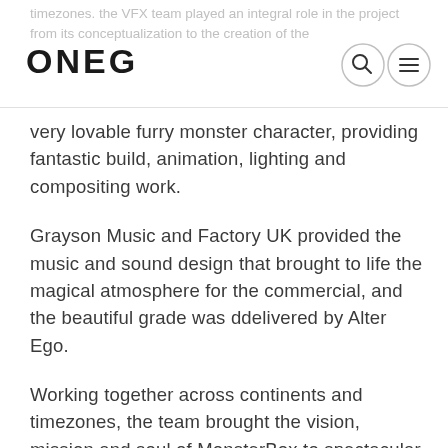ONEG
very lovable furry monster character, providing fantastic build, animation, lighting and compositing work.
Grayson Music and Factory UK provided the music and sound design that brought to life the magical atmosphere for the commercial, and the beautiful grade was ddelivered by Alter Ego.
Working together across continents and timezones, the team brought the vision, mission and soul of MonsterBox to spectacular life in the compelling promo film below: